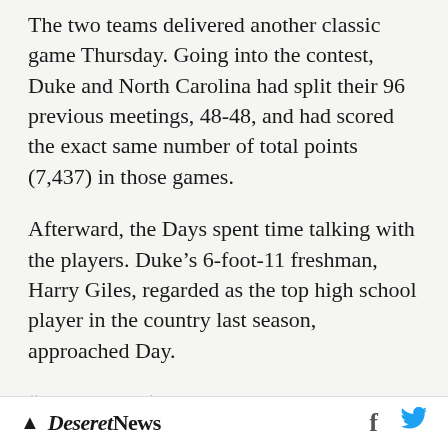The two teams delivered another classic game Thursday. Going into the contest, Duke and North Carolina had split their 96 previous meetings, 48-48, and had scored the exact same number of total points (7,437) in those games.
Afterward, the Days spent time talking with the players. Duke's 6-foot-11 freshman, Harry Giles, regarded as the top high school player in the country last season, approached Day.
“He told me, ‘You’re a real inspiration to us. Thank you for coming,’” she said. “It was really sweet that he would say that. Both programs are so classy. They were so kind and genuine.”
Deseret News